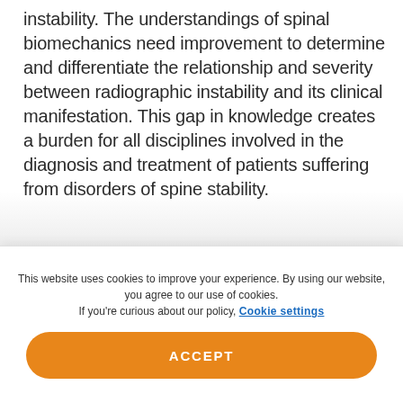instability. The understandings of spinal biomechanics need improvement to determine and differentiate the relationship and severity between radiographic instability and its clinical manifestation. This gap in knowledge creates a burden for all disciplines involved in the diagnosis and treatment of patients suffering from disorders of spine stability.
References
This website uses cookies to improve your experience. By using our website, you agree to our use of cookies. If you're curious about our policy, Cookie settings
ACCEPT